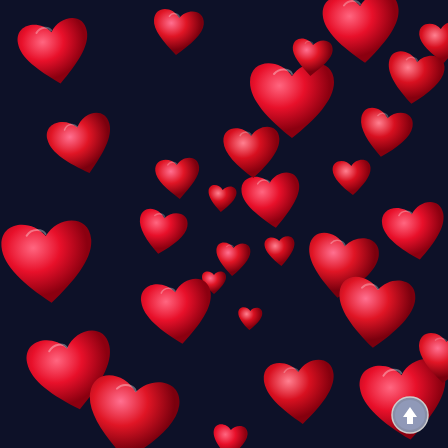[Figure (illustration): Dark navy blue background covered with scattered red/pink glossy heart shapes of various sizes, arranged in a random pattern across the entire image. A small circular badge with an upward arrow icon appears in the bottom-right corner.]